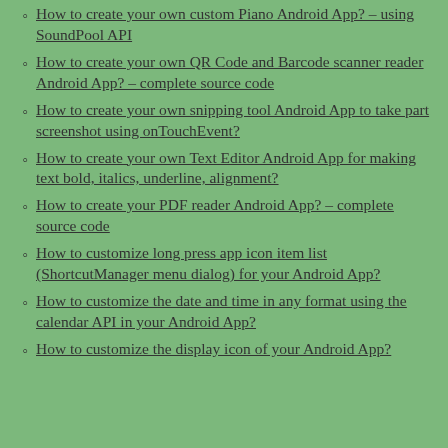How to create your own custom Piano Android App? – using SoundPool API
How to create your own QR Code and Barcode scanner reader Android App? – complete source code
How to create your own snipping tool Android App to take part screenshot using onTouchEvent?
How to create your own Text Editor Android App for making text bold, italics, underline, alignment?
How to create your PDF reader Android App? – complete source code
How to customize long press app icon item list (ShortcutManager menu dialog) for your Android App?
How to customize the date and time in any format using the calendar API in your Android App?
How to customize the display icon of your Android App?